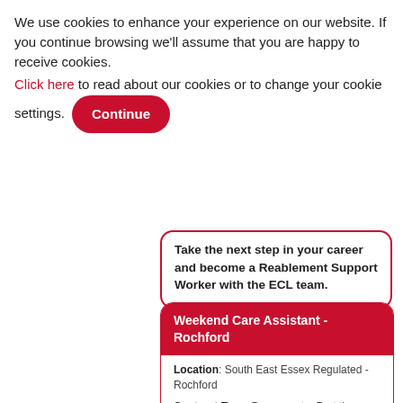We use cookies to enhance your experience on our website. If you continue browsing we'll assume that you are happy to receive cookies.
Click here to read about our cookies or to change your cookie settings. [Continue button]
Take the next step in your career and become a Reablement Support Worker with the ECL team.
Weekend Care Assistant - Rochford
Location: South East Essex Regulated - Rochford
Contract Type: Permanent – Part time
Closing Date: 30 September 2022
Salary: £12.20 per hour weekdays and £14.20 per hour weekends